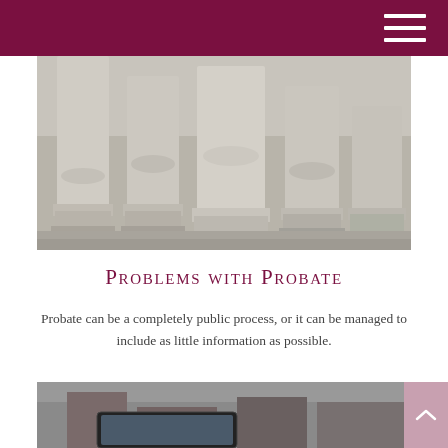[Figure (photo): Close-up photograph of classical stone columns with steps, viewed from a low angle, in grayscale tones.]
Problems with Probate
Probate can be a completely public process, or it can be managed to include as little information as possible.
[Figure (photo): Partial photograph showing a hand holding a tablet device, with a blurred outdoor background.]